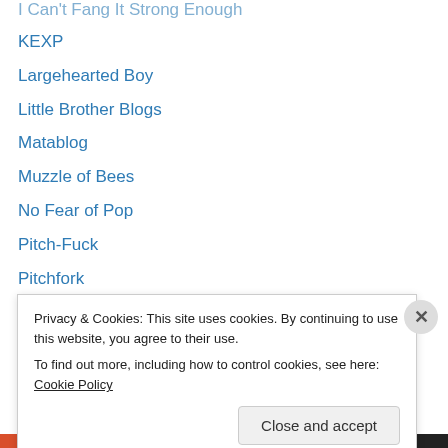I Can't Fang It Strong Enough
KEXP
Largehearted Boy
Little Brother Blogs
Matablog
Muzzle of Bees
No Fear of Pop
Pitch-Fuck
Pitchfork
Pitchfork Reviews Reviews
Salt and Maelstrom
Stereogum
The AV Club
The Dumbing of America
Privacy & Cookies: This site uses cookies. By continuing to use this website, you agree to their use.
To find out more, including how to control cookies, see here: Cookie Policy